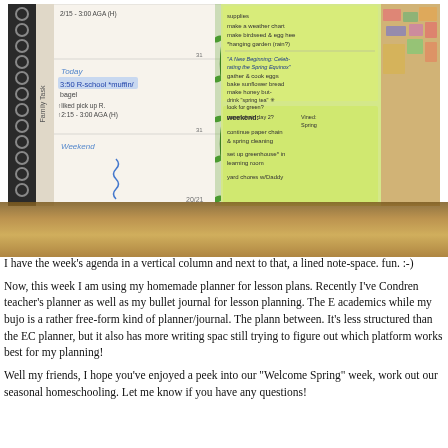[Figure (photo): Photo of an open homeschool planner/bullet journal showing a weekly spread with handwritten schedule on the left (Friday, Weekend entries with times and activities), sticky notes on the right in yellow-green with activities like 'make a weather chart', 'A New Beginning: Celebrating the Spring Equinox', 'gather & cook eggs', 'bake sunflower bread', 'make honey butter', 'drink spring tea', 'paper chain day 2', 'look for green - Vined: Spring', 'weekend: continue paper chain & spring cleaning', 'set up greenhouse in learning room', 'yard chores w/ Daddy'. A vine decoration runs down the center divider. The planner rests on a woven mat/basket surface.]
I have the week's agenda in a vertical column and next to that, a lined note-space. fun. :-)
Now, this week I am using my homemade planner for lesson plans. Recently I've Condren teacher's planner as well as my bullet journal for lesson planning. The E academics while my bujo is a rather free-form kind of planner/journal. The plann between. It's less structured than the EC planner, but it also has more writing spac still trying to figure out which platform works best for my planning!
Well my friends, I hope you've enjoyed a peek into our "Welcome Spring" week, work out our seasonal homeschooling. Let me know if you have any questions!